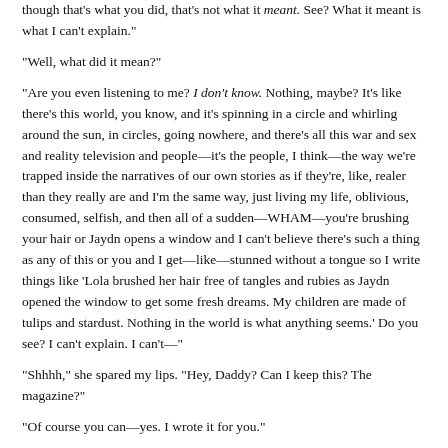though that's what you did, that's not what it meant. See? What it meant is what I can't explain."
"Well, what did it mean?"
"Are you even listening to me? I don't know. Nothing, maybe? It's like there's this world, you know, and it's spinning in a circle and whirling around the sun, in circles, going nowhere, and there's all this war and sex and reality television and people—it's the people, I think—the way we're trapped inside the narratives of our own stories as if they're, like, realer than they really are and I'm the same way, just living my life, oblivious, consumed, selfish, and then all of a sudden—WHAM—you're brushing your hair or Jaydn opens a window and I can't believe there's such a thing as any of this or you and I get—like—stunned without a tongue so I write things like 'Lola brushed her hair free of tangles and rubies as Jaydn opened the window to get some fresh dreams. My children are made of tulips and stardust. Nothing in the world is what anything seems.' Do you see? I can't explain. I can't—"
"Shhhh," she spared my lips. "Hey, Daddy? Can I keep this? The magazine?"
"Of course you can—yes. I wrote it for you."
"You will always be the candles on my eyes' windowsills."